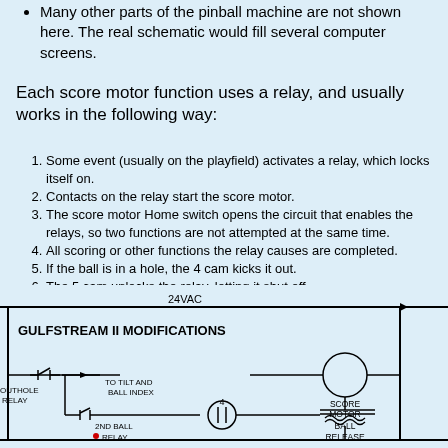Many other parts of the pinball machine are not shown here. The real schematic would fill several computer screens.
Each score motor function uses a relay, and usually works in the following way:
1. Some event (usually on the playfield) activates a relay, which locks itself on.
2. Contacts on the relay start the score motor.
3. The score motor Home switch opens the circuit that enables the relays, so two functions are not attempted at the same time.
4. All scoring or other functions the relay causes are completed.
5. If the ball is in a hole, the 4 cam kicks it out.
6. The 5 cam unlocks the relay, letting it shut off.
7. The Home switch stops the score motor and enables all of the relays again.
[Figure (schematic): Partial electrical ladder schematic for Gulfstream II pinball machine showing 24VAC power rail, GULFSTREAM II MODIFICATIONS label, SCORE MOTOR circle symbol, OUTHOLE RELAY contact, TO TILT AND BALL INDEX connection, cam 4 contact, 2ND BALL RELAY contact, and BALL RELEASE coil symbol.]